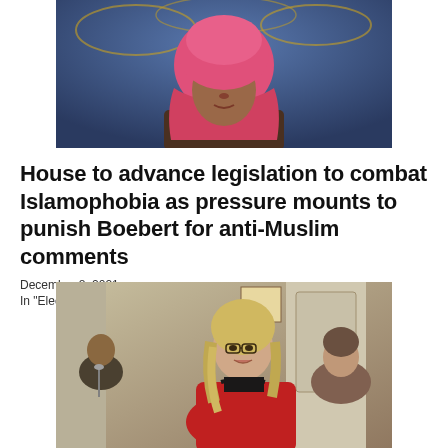[Figure (photo): Portrait photo of a woman wearing a bright pink hijab, looking directly at camera, with a blurred blue/gold background]
House to advance legislation to combat Islamophobia as pressure mounts to punish Boebert for anti-Muslim comments
December 8, 2021
In "Election Central"
[Figure (photo): Photo of a hearing room scene with a woman in a red jacket with blonde hair wearing glasses speaking, with other officials visible behind her]